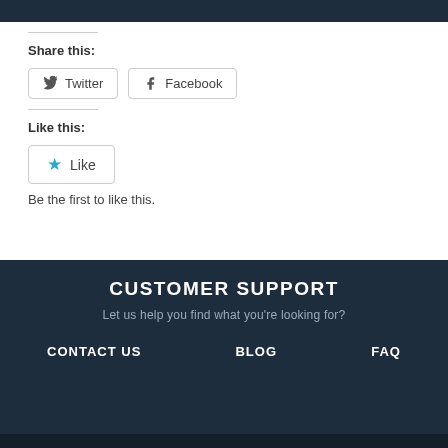[Figure (other): Dark navy blue header bar at top of page]
Share this:
Twitter   Facebook
Like this:
Like
Be the first to like this.
CUSTOMER SUPPORT
Let us help you find what you're looking for?
CONTACT US   BLOG   FAQ